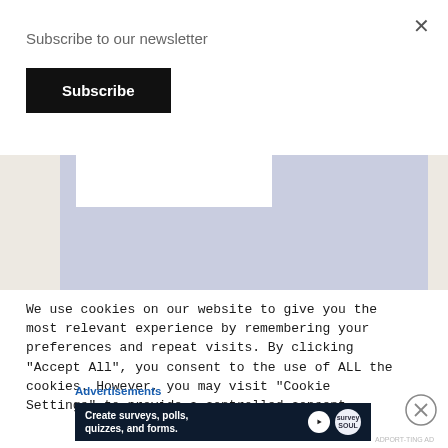Subscribe to our newsletter
Subscribe
[Figure (screenshot): A partially loaded webpage image area with lavender/gray background and white rectangle at top, beige side strips]
We use cookies on our website to give you the most relevant experience by remembering your preferences and repeat visits. By clicking “Accept All”, you consent to the use of ALL the cookies. However, you may visit “Cookie Settings” to provide a controlled consent.
Advertisements
[Figure (infographic): Dark navy ad banner: 'Create surveys, polls, quizzes, and forms.' with WordPress and survey icons]